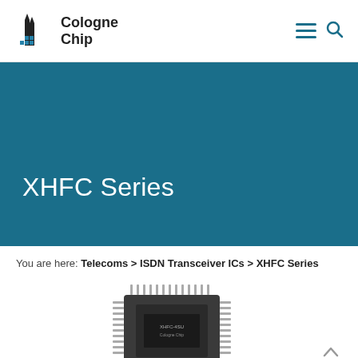Cologne Chip
XHFC Series
You are here: Telecoms > ISDN Transceiver ICs > XHFC Series
[Figure (photo): Photograph of an IC chip (XHFC Series integrated circuit) in a QFP package, partially visible at the bottom of the page]